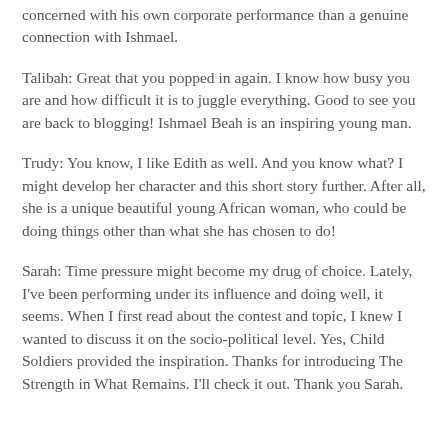concerned with his own corporate performance than a genuine connection with Ishmael.
Talibah: Great that you popped in again. I know how busy you are and how difficult it is to juggle everything. Good to see you are back to blogging! Ishmael Beah is an inspiring young man.
Trudy: You know, I like Edith as well. And you know what? I might develop her character and this short story further. After all, she is a unique beautiful young African woman, who could be doing things other than what she has chosen to do!
Sarah: Time pressure might become my drug of choice. Lately, I've been performing under its influence and doing well, it seems. When I first read about the contest and topic, I knew I wanted to discuss it on the socio-political level. Yes, Child Soldiers provided the inspiration. Thanks for introducing The Strength in What Remains. I'll check it out. Thank you Sarah.